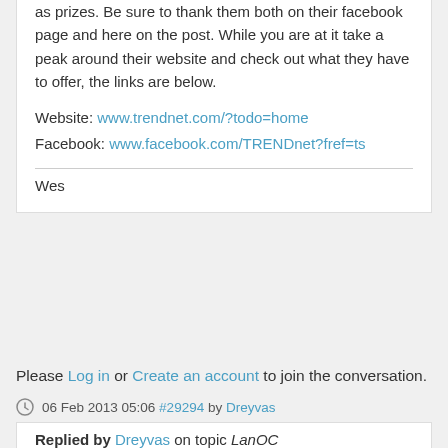as prizes. Be sure to thank them both on their facebook page and here on the post. While you are at it take a peak around their website and check out what they have to offer, the links are below.
Website: www.trendnet.com/?todo=home
Facebook: www.facebook.com/TRENDnet?fref=ts
Wes
Please Log in or Create an account to join the conversation.
06 Feb 2013 05:06 #29294 by Dreyvas
Replied by Dreyvas on topic LanOC